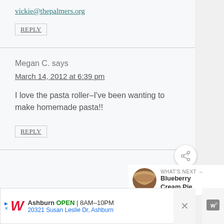vickie@thepalmers.org
REPLY
Megan C. says
March 14, 2012 at 6:39 pm
I love the pasta roller–I've been wanting to make homemade pasta!!
REPLY
WHAT'S NEXT → Blueberry Cream Pie
Ashburn OPEN | 8AM–10PM 20321 Susan Leslie Dr, Ashburn